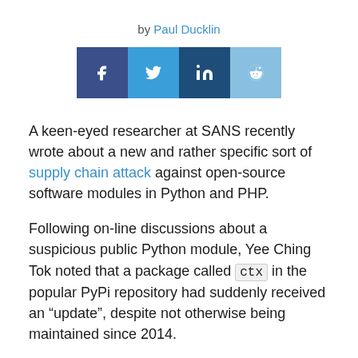by Paul Ducklin
[Figure (infographic): Four social media share buttons: Facebook (dark blue), Twitter (blue), LinkedIn (dark navy), Reddit (light blue)]
A keen-eyed researcher at SANS recently wrote about a new and rather specific sort of supply chain attack against open-source software modules in Python and PHP.
Following on-line discussions about a suspicious public Python module, Yee Ching Tok noted that a package called ctx in the popular PyPi repository had suddenly received an “update”, despite not otherwise being maintained since 2014.